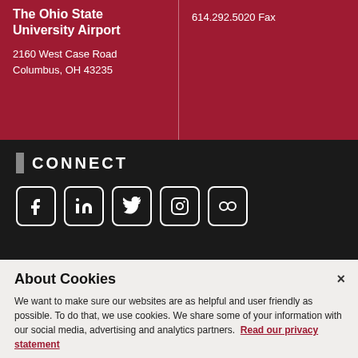The Ohio State University Airport
2160 West Case Road
Columbus, OH 43235
614.292.5020 Fax
CONNECT
[Figure (infographic): Social media icons: Facebook, LinkedIn, Twitter, Instagram, Flickr]
About Cookies
We want to make sure our websites are as helpful and user friendly as possible. To do that, we use cookies. We share some of your information with our social media, advertising and analytics partners. Read our privacy statement
Review cookie settings
Accept cookies